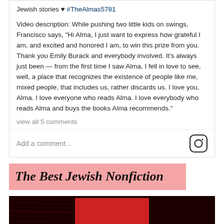Jewish stories ♥ #TheAlmas5781
Video description: While pushing two little kids on swings, Francisco says, "Hi Alma, I just want to express how grateful I am, and excited and honored I am, to win this prize from you. Thank you Emily Burack and everybody involved. It's always just been — from the first time I saw Alma, I fell in love to see, well, a place that recognizes the existence of people like me, mixed people, that includes us, rather discards us. I love you, Alma. I love everyone who reads Alma. I love everybody who reads Alma and buys the books Alma recommends."
view all 5 comments
Add a comment...
The Best Jewish Nonfiction
[Figure (photo): A dark background with red wood grain texture and a red panel in center showing the word CULTURE in white bold letters]